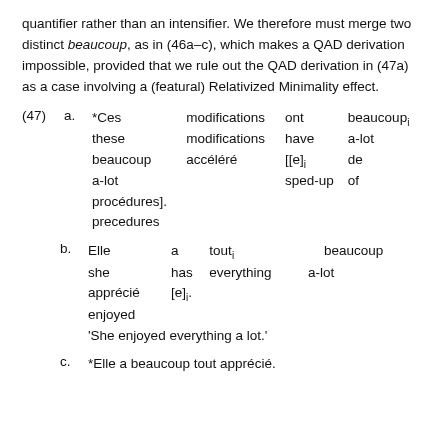quantifier rather than an intensifier. We therefore must merge two distinct beaucoup, as in (46a–c), which makes a QAD derivation impossible, provided that we rule out the QAD derivation in (47a) as a case involving a (featural) Relativized Minimality effect.
(47) a. *Ces modifications ont beaucoup_i these modifications have a-lot beaucoup accéléré [[e]_i de a-lot sped-up of procédures]. precedures
b. Elle a tout_i beaucoup she has everything a-lot apprécié [e]_i. enjoyed 'She enjoyed everything a lot.'
c. *Elle a beaucoup tout apprécié.